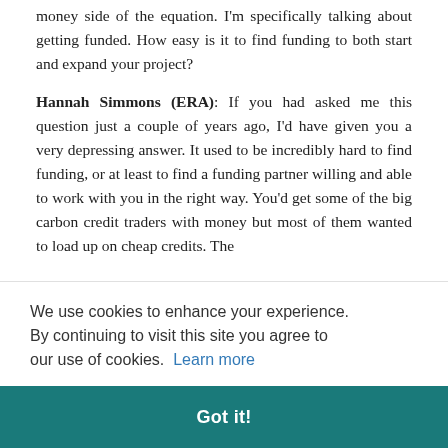money side of the equation. I'm specifically talking about getting funded. How easy is it to find funding to both start and expand your project?
Hannah Simmons (ERA): If you had asked me this question just a couple of years ago, I'd have given you a very depressing answer. It used to be incredibly hard to find funding, or at least to find a funding partner willing and able to work with you in the right way. You'd get some of the big carbon credit traders with money but most of them wanted to load up on cheap credits. The [text continues, partially obscured] r, and [text continues] lot of [text continues] money [text continues] ddenly [text continues] to see [text continues] tion to people really get more engaged and paying attention to [text cut off] down and, and those clients have much more ability...
We use cookies to enhance your experience. By continuing to visit this site you agree to our use of cookies. Learn more
Got it!